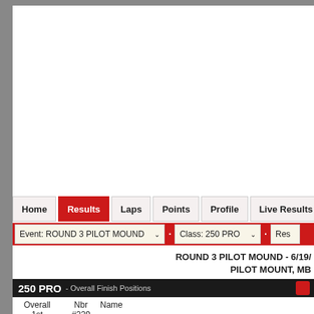Home | Results | Laps | Points | Profile | Live Results
Event: ROUND 3 PILOT MOUND  |  Class: 250 PRO
ROUND 3 PILOT MOUND - 6/19/ PILOT MOUNT, MB
250 PRO - Overall Finish Positions
| Overall 1st | Nbr #229 | Name |
| --- | --- | --- |